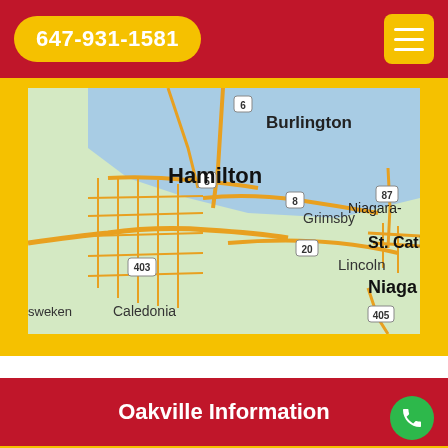647-931-1581
[Figure (map): Google Maps screenshot showing Hamilton, Burlington, Grimsby, St. Catharines, Lincoln, Caledonia, Niagara area in Ontario, Canada with route numbers 403, 5, 6, 8, 20, 87, 405]
Oakville Information
[Figure (photo): Partial photo of buildings/rooftops in Oakville]